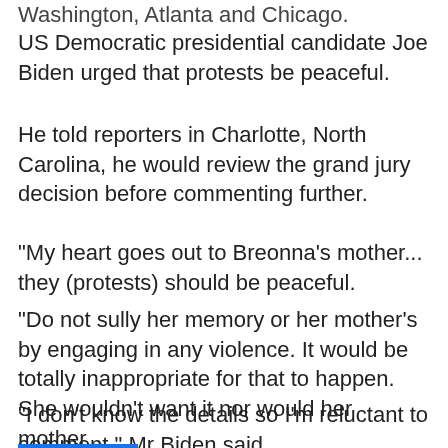Washington, Atlanta and Chicago.
US Democratic presidential candidate Joe Biden urged that protests be peaceful.
He told reporters in Charlotte, North Carolina, he would review the grand jury decision before commenting further.
"My heart goes out to Breonna's mother... they (protests) should be peaceful.
"Do not sully her memory or her mother's by engaging in any violence. It would be totally inappropriate for that to happen. She wouldn't want it nor would her mother...
"I don't know the details so I'm reluctant to comment," Mr Biden said.